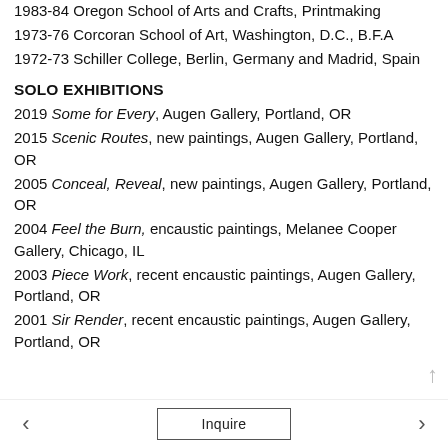1983-84 Oregon School of Arts and Crafts, Printmaking
1973-76 Corcoran School of Art, Washington, D.C., B.F.A
1972-73 Schiller College, Berlin, Germany and Madrid, Spain
SOLO EXHIBITIONS
2019 Some for Every, Augen Gallery, Portland, OR
2015 Scenic Routes, new paintings, Augen Gallery, Portland, OR
2005 Conceal, Reveal, new paintings, Augen Gallery, Portland, OR
2004 Feel the Burn, encaustic paintings, Melanee Cooper Gallery, Chicago, IL
2003 Piece Work, recent encaustic paintings, Augen Gallery, Portland, OR
2001 Sir Render, recent encaustic paintings, Augen Gallery, Portland, OR
Inquire